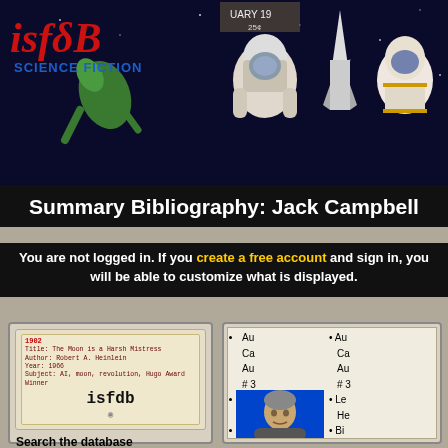[Figure (screenshot): ISFDB Science Fiction database website header banner with retro sci-fi magazine imagery showing astronauts and rocket against space background, with isfdb logo in red italic text and 'SCIENCE FICTION' subtitle]
Summary Bibliography: Jack Campbell
You are not logged in. If you create a free account and sign in, you will be able to customize what is displayed.
[Figure (screenshot): Left panel showing ISFDB library card logo with 'isfdb' in courier font and search interface with text input, Name dropdown, Go button, and Advanced Search button]
[Figure (screenshot): Right panel showing bibliography info with bullet points for Author (Jack Campbell, Author #3), Legal Name (Her...), Birth date (195...), Language (Eng...), Website (jack...cam...) and partial author photo on blue background]